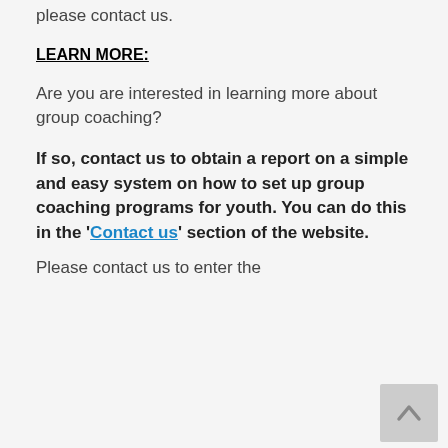please contact us.
LEARN MORE:
Are you are interested in learning more about group coaching?
If so, contact us to obtain a report on a simple and easy system on how to set up group coaching programs for youth. You can do this in the 'Contact us' section of the website.
Please contact us to enter the